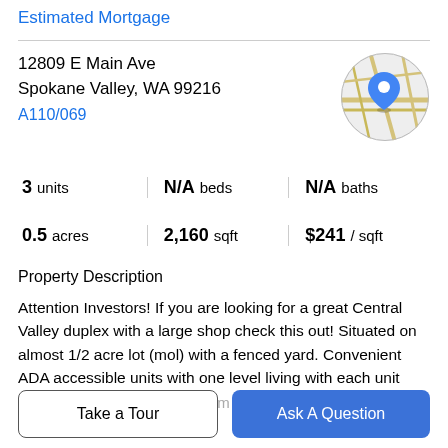Estimated Mortgage
12809 E Main Ave
Spokane Valley, WA 99216
A110/069
[Figure (map): Circular map thumbnail showing street map with a blue location pin marker]
3 units | N/A beds | N/A baths
0.5 acres | 2,160 sqft | $241 / sqft
Property Description
Attention Investors! If you are looking for a great Central Valley duplex with a large shop check this out! Situated on almost 1/2 acre lot (mol) with a fenced yard. Convenient ADA accessible units with one level living with each unit having 3 bedrooms, 1 bathroom and apx 1,080 sq ft. Vinyl
Take a Tour
Ask A Question